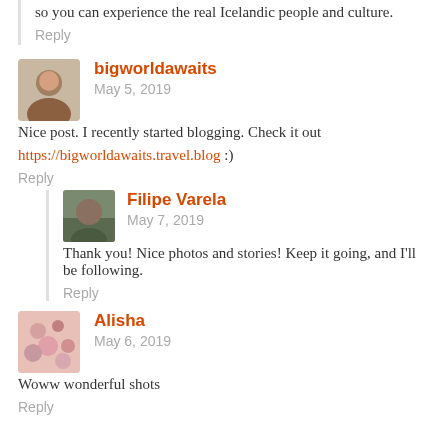so you can experience the real Icelandic people and culture.
Reply
bigworldawaits
May 5, 2019
Nice post. I recently started blogging. Check it out
https://bigworldawaits.travel.blog :)
Reply
Filipe Varela
May 7, 2019
Thank you! Nice photos and stories! Keep it going, and I'll be following.
Reply
Alisha
May 6, 2019
Woww wonderful shots
Reply